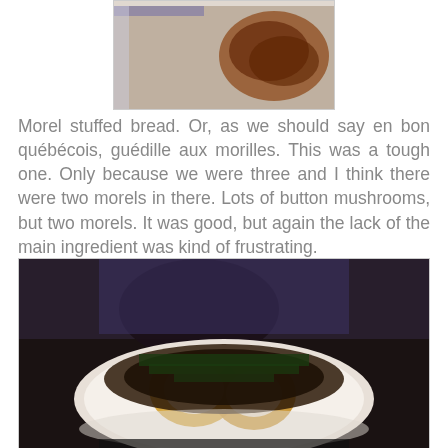[Figure (photo): Partial photo of a food dish, cropped at top of page]
Morel stuffed bread. Or, as we should say en bon québécois, guédille aux morilles. This was a tough one. Only because we were three and I think there were two morels in there. Lots of button mushrooms, but two morels. It was good, but again the lack of the main ingredient was kind of frustrating.
[Figure (photo): Photo of a food dish on a white plate with mushrooms, eggs, and dark greens, with a person visible in the background]